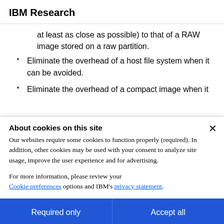IBM Research
at least as close as possible) to that of a RAW image stored on a raw partition.
Eliminate the overhead of a host file system when it can be avoided.
Eliminate the overhead of a compact image when it
About cookies on this site
Our websites require some cookies to function properly (required). In addition, other cookies may be used with your consent to analyze site usage, improve the user experience and for advertising.
For more information, please review your Cookie preferences options and IBM's privacy statement.
Required only
Accept all